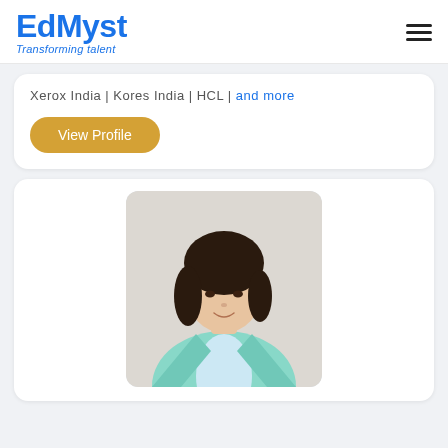EdMyst – Transforming talent
Xerox India | Kores India | HCL | and more
View Profile
[Figure (photo): Portrait photo of a young woman wearing a light teal blazer over a white shirt, standing against a light beige background.]